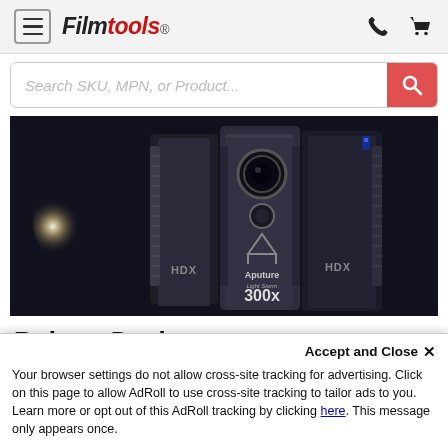Filmtools — navigation header with hamburger menu, phone icon, and cart icon
Search SKU, MPN, or Product...
[Figure (photo): Close-up product photo of Aputure Light Storm 300x LED light units with 'HDX' branding in dark moody lighting]
Robust Design
Accept and Close ✕
Your browser settings do not allow cross-site tracking for advertising. Click on this page to allow AdRoll to use cross-site tracking to tailor ads to you. Learn more or opt out of this AdRoll tracking by clicking here. This message only appears once.